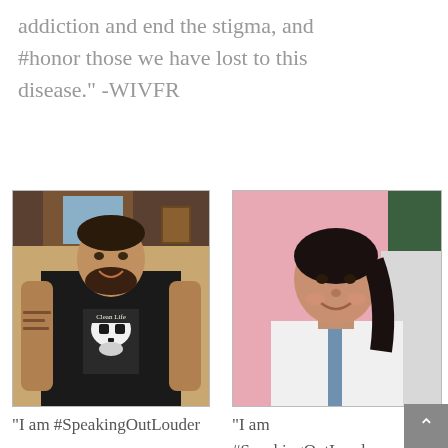addiction and end the stigma, and #honor those we have lost to this disease." -WIVFR
[Figure (photo): Man in black sleeveless shirt with skull graphic reading 'Clean Life', smiling, with tattoos on arms, standing indoors]
[Figure (photo): Young woman with dark hair, smiling, wearing a white top with blue trim, standing in front of a pink wall]
“I am #SpeakingOutLouder
“I am #SpeakingOutLouder